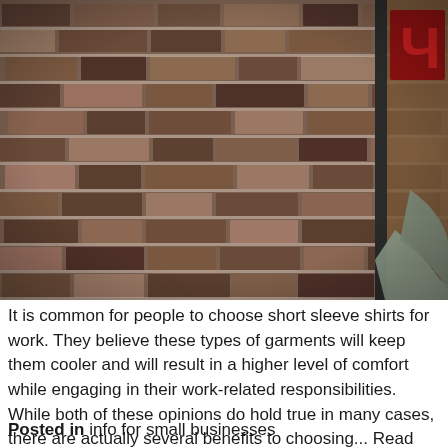[Figure (photo): A brick wall with mortar joints in shades of brown, grey, and red. On the right side, a partial view of a person wearing a grey long-sleeve shirt, and a glass door or window with a red sign visible in the upper right corner.]
It is common for people to choose short sleeve shirts for work. They believe these types of garments will keep them cooler and will result in a higher level of comfort while engaging in their work-related responsibilities. While both of these opinions do hold true in many cases, there are actually several benefits to choosing... Read More...
Posted in info for small businesses